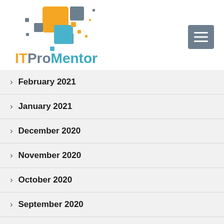[Figure (logo): ITProMentor logo with colorful pixel squares in orange, gray, and blue, with text 'ITProMentor' where 'IT' is orange, 'Pro' is gray, and 'Mentor' is blue-teal]
February 2021
January 2021
December 2020
November 2020
October 2020
September 2020
August 2020
July 2020
June 2020